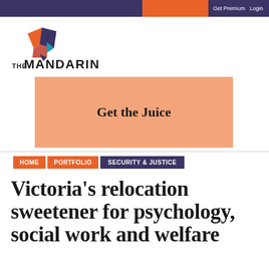Free Daily Newsletter  Get Premium  Login
[Figure (logo): The Mandarin logo with geometric diamond shape in orange, red and blue, and text THE MANDARIN]
[Figure (infographic): Orange banner advertisement reading 'Get the Juice']
HOME  PORTFOLIO  SECURITY & JUSTICE
Victoria’s relocation sweetener for psychology, social work and welfare